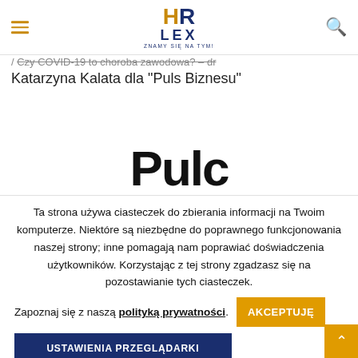HR LEX - ZNAMY SIĘ NA TYM!
/ Czy COVID-19 to choroba zawodowa? – dr Katarzyna Kalata dla "Puls Biznesu"
[Figure (logo): Puls logo - large bold black text 'Pulc']
Ta strona używa ciasteczek do zbierania informacji na Twoim komputerze. Niektóre są niezbędne do poprawnego funkcjonowania naszej strony; inne pomagają nam poprawiać doświadczenia użytkowników. Korzystając z tej strony zgadzasz się na pozostawianie tych ciasteczek.
Zapoznaj się z naszą polityką prywatności.
AKCEPTUJĘ
USTAWIENIA PRZEGLĄDARKI